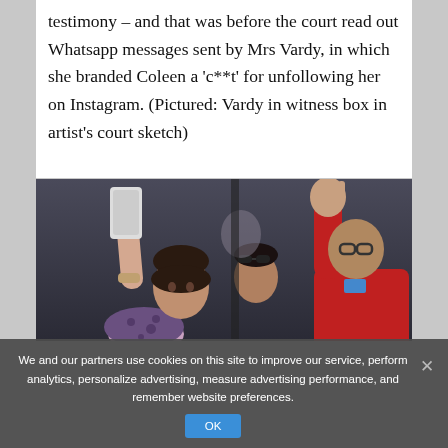testimony – and that was before the court read out Whatsapp messages sent by Mrs Vardy, in which she branded Coleen a 'c**t' for unfollowing her on Instagram. (Pictured: Vardy in witness box in artist's court sketch)
[Figure (photo): A crowd of people at what appears to be a sporting event or concert. One person raises a mobile phone in the air, another person in a red jacket raises their hand. A woman with dark hair is visible in the foreground.]
We and our partners use cookies on this site to improve our service, perform analytics, personalize advertising, measure advertising performance, and remember website preferences.